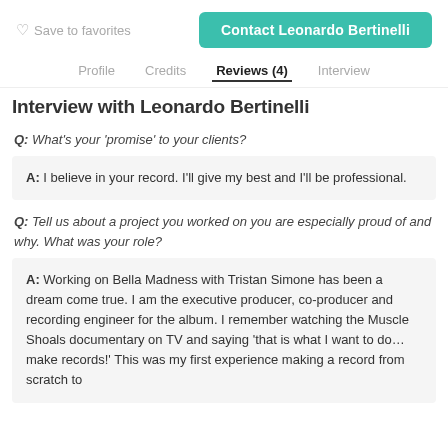Save to favorites   Contact Leonardo Bertinelli
Profile   Credits   Reviews (4)   Interview
Interview with Leonardo Bertinelli
Q: What's your 'promise' to your clients?
A: I believe in your record. I'll give my best and I'll be professional.
Q: Tell us about a project you worked on you are especially proud of and why. What was your role?
A: Working on Bella Madness with Tristan Simone has been a dream come true. I am the executive producer, co-producer and recording engineer for the album. I remember watching the Muscle Shoals documentary on TV and saying 'that is what I want to do… make records!' This was my first experience making a record from scratch to